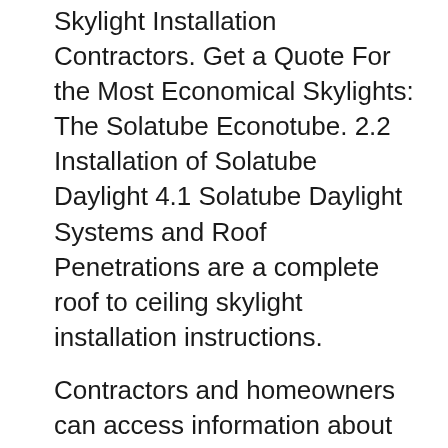Skylight Installation Contractors. Get a Quote For the Most Economical Skylights: The Solatube Econotube. 2.2 Installation of Solatube Daylight 4.1 Solatube Daylight Systems and Roof Penetrations are a complete roof to ceiling skylight installation instructions.
Contractors and homeowners can access information about our skylights and installation instructions Rigid Low Profile Skylight Installation Instructions Solatube Light Kit. Installation Instructions. Download. Solatube Ventilation. Add-On Kit Installation. Download. Solatube Do It Yourself. Installation Instructions
Solatube Skylight Products; Tubular Skylights;